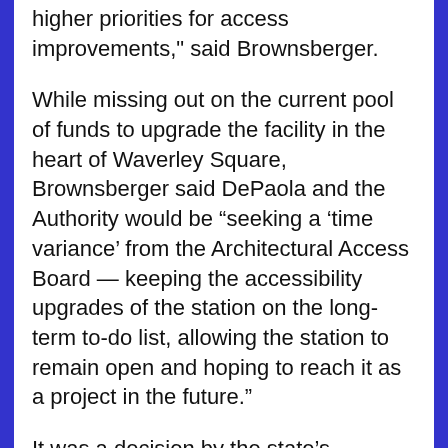higher priorities for access improvements," said Brownsberger.
While missing out on the current pool of funds to upgrade the facility in the heart of Waverley Square, Brownsberger said DePaola and the Authority would be “seeking a ‘time variance’ from the Architectural Access Board — keeping the accessibility upgrades of the station on the long-term to-do list, allowing the station to remain open and hoping to reach it as a project in the future.”
It was a decision by the state’s Architectural Access Board in 2013 that ordered the transportation authority to improve access to the Waverley Square commuter rail station to allow access-challenged citizens to take